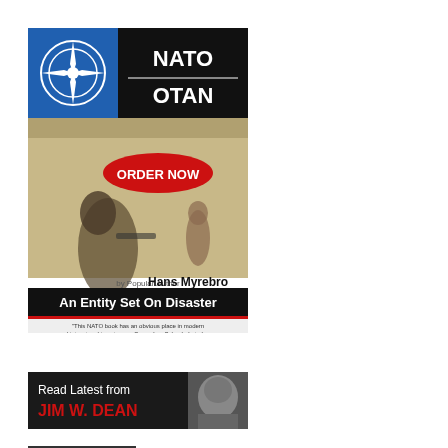[Figure (illustration): Book cover for 'NATO OTAN - An Entity Set On Disaster' by Hans Myrebro. Black top section with NATO/OTAN text and compass rose logo in blue. Red oval 'ORDER NOW' button. Center shows soldiers near a wall. Bottom black bar with bold white/red title text and a quote below.]
[Figure (illustration): Banner reading 'Read Latest from JIM W. DEAN' in red bold text on dark background with a black-and-white photo of a man.]
Latest Posts
More
The Dugina Assassination